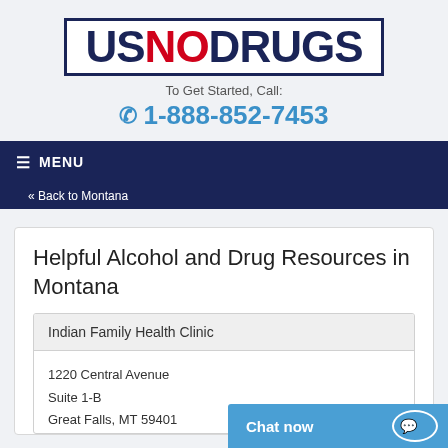[Figure (logo): USNODRUGS logo — US and DRUGS in dark navy, NO in red, inside a dark navy border rectangle]
To Get Started, Call:
1-888-852-7453
≡ MENU
« Back to Montana
Helpful Alcohol and Drug Resources in Montana
Indian Family Health Clinic
1220 Central Avenue
Suite 1-B
Great Falls, MT 5940...